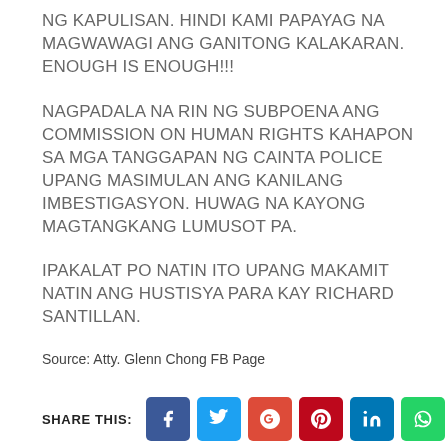NG KAPULISAN. HINDI KAMI PAPAYAG NA MAGWAWAGI ANG GANITONG KALAKARAN. ENOUGH IS ENOUGH!!!
NAGPADALA NA RIN NG SUBPOENA ANG COMMISSION ON HUMAN RIGHTS KAHAPON SA MGA TANGGAPAN NG CAINTA POLICE UPANG MASIMULAN ANG KANILANG IMBESTIGASYON. HUWAG NA KAYONG MAGTANGKANG LUMUSOT PA.
IPAKALAT PO NATIN ITO UPANG MAKAMIT NATIN ANG HUSTISYA PARA KAY RICHARD SANTILLAN.
Source: Atty. Glenn Chong FB Page
SHARE THIS: